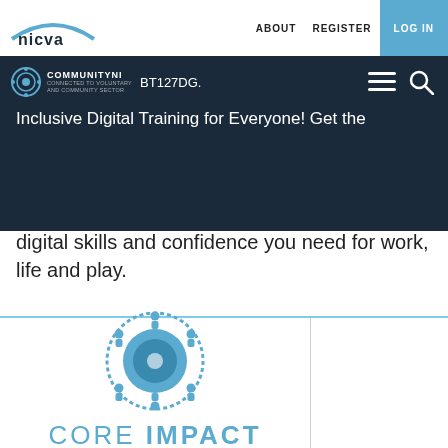ABOUT  REGISTER  LOG IN
[Figure (logo): NICVA logo - white text on dark background with arch shape]
[Figure (logo): CommunityNI logo - circular icon with text, beside partial address text BT127DG]
Inclusive Digital Training for Everyone! Get the digital skills and confidence you need for work, life and play.
[Figure (logo): Core Impact logo - circular blue icon with people figures, text CORE IMPACT in blue, tagline ENGAGE, ENABLE, EMPOWER]